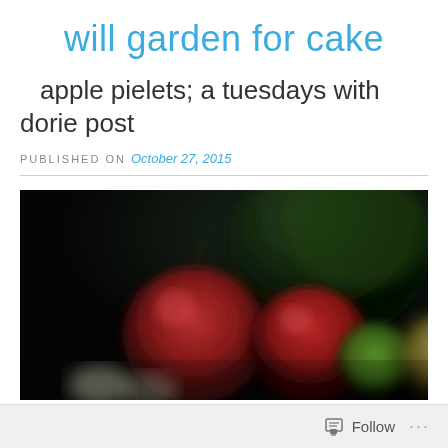will garden for cake
apple pielets; a tuesdays with dorie post
PUBLISHED ON October 27, 2015
[Figure (photo): Dark moody photograph of red apples and green produce arranged on a dark background, slightly blurred/bokeh effect]
Follow ...